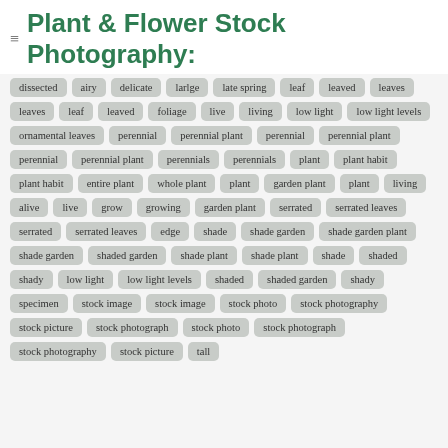Plant & Flower Stock Photography:
dissected
airy
delicate
larlge
late spring
leaf
leaved
leaves
leaves
leaf
leaved
foliage
live
living
low light
low light levels
ornamental leaves
perennial
perennial plant
perennial
perennial plant
perennial
perennial plant
perennials
perennials
plant
plant habit
plant habit
entire plant
whole plant
plant
garden plant
plant
living
alive
live
grow
growing
garden plant
serrated
serrated leaves
serrated
serrated leaves
edge
shade
shade garden
shade garden plant
shade garden
shaded garden
shade plant
shade plant
shade
shaded
shady
low light
low light levels
shaded
shaded garden
shady
specimen
stock image
stock image
stock photo
stock photography
stock picture
stock photograph
stock photo
stock photograph
stock photography
stock picture
tall